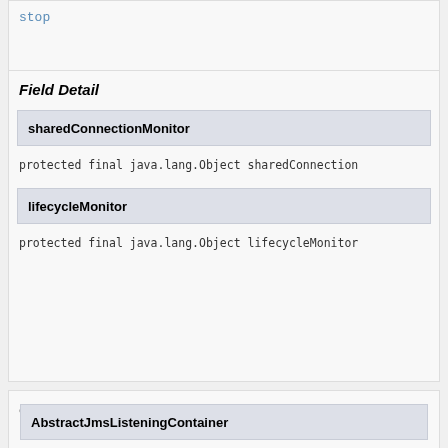stop
Field Detail
sharedConnectionMonitor
protected final java.lang.Object sharedConnection…
lifecycleMonitor
protected final java.lang.Object lifecycleMonitor…
Constructor Detail
AbstractJmsListeningContainer